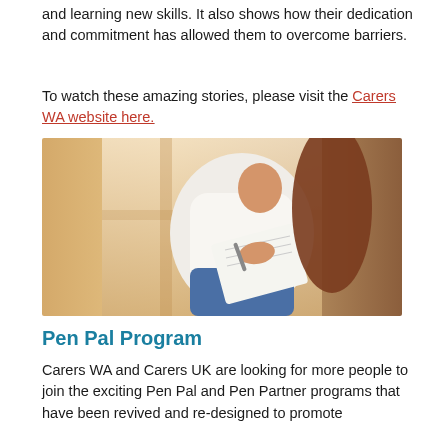and learning new skills. It also shows how their dedication and commitment has allowed them to overcome barriers.
To watch these amazing stories, please visit the Carers WA website here.
[Figure (photo): A person in a white shirt sitting and holding a notebook and pen, with warm natural light in the background.]
Pen Pal Program
Carers WA and Carers UK are looking for more people to join the exciting Pen Pal and Pen Partner programs that have been revived and re-designed to promote